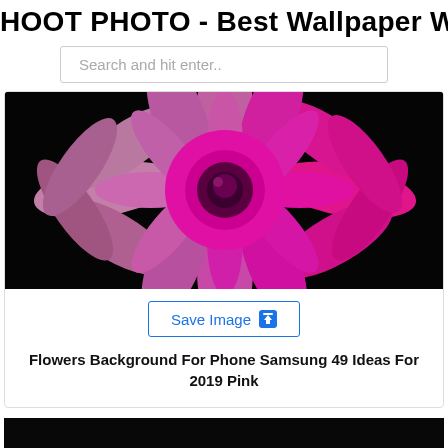HOOT PHOTO - Best Wallpaper Web
Search and hit enter..
[Figure (photo): Close-up of a pink dahlia flower on black background, petals ranging from pale pink to vivid magenta toward the center]
Save Image
Flowers Background For Phone Samsung 49 Ideas For 2019 Pink
[Figure (photo): Dark/black image, partial second photo at bottom of page]